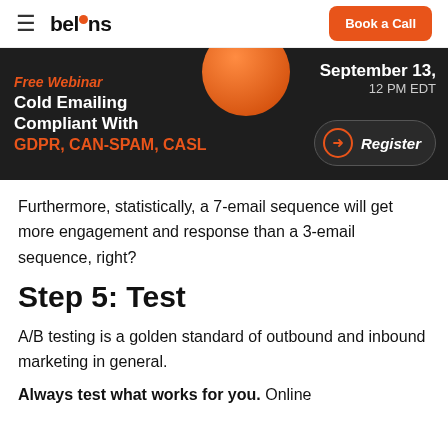belkins  Book a Call
[Figure (infographic): Free Webinar banner: Cold Emailing Compliant With GDPR, CAN-SPAM, CASL. September 13, 12 PM EDT. Register button.]
Furthermore, statistically, a 7-email sequence will get more engagement and response than a 3-email sequence, right?
Step 5: Test
A/B testing is a golden standard of outbound and inbound marketing in general.
Always test what works for you. Online